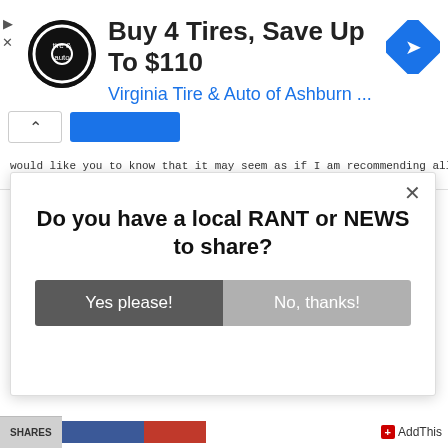[Figure (screenshot): Advertisement banner for Virginia Tire & Auto of Ashburn showing logo, text 'Buy 4 Tires, Save Up To $110', subtext 'Virginia Tire & Auto of Ashburn ...', and a blue navigation icon]
would like you to know that it may seem as if I am recommending all
[Figure (screenshot): Modal popup dialog asking 'Do you have a local RANT or NEWS to share?' with two buttons: 'Yes please!' (dark gray) and 'No, thanks!' (light gray), and a close X button]
[Figure (screenshot): AddThis social sharing bar at bottom right, and SHARES label with social media buttons]